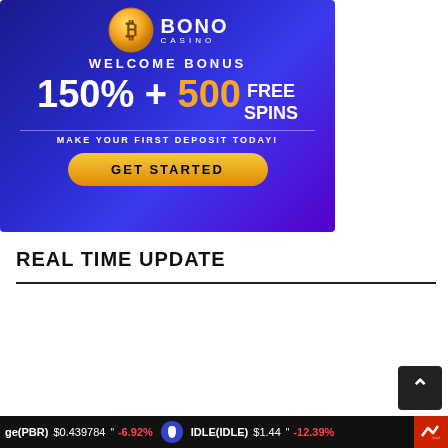[Figure (illustration): Casino advertisement banner with blue gradient background, bitcoin coin, 'BONO CASINO' logo, 'WELCOME BONUS', '150% + 500 FREE SPINS', 'MAKE YOUR FIRST DEPOSIT TODAY!', and 'GET STARTED' orange button.]
REAL TIME UPDATE
| Name | Price |
| --- | --- |
| ⧗ Relevant | $0.78 |
| ♡ Heart Number | $0.000553 |
ge(PBR) $0.439784 " -6.92%   IDLE(IDLE) $1.44 " -12.39%